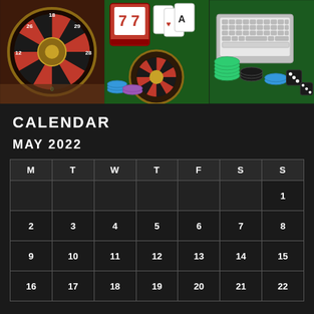[Figure (photo): Three casino-themed photos side by side: a roulette wheel, slot machine/cards/roulette composite, and poker chips/keyboard on green felt]
CALENDAR
MAY 2022
| M | T | W | T | F | S | S |
| --- | --- | --- | --- | --- | --- | --- |
|  |  |  |  |  |  | 1 |
| 2 | 3 | 4 | 5 | 6 | 7 | 8 |
| 9 | 10 | 11 | 12 | 13 | 14 | 15 |
| 16 | 17 | 18 | 19 | 20 | 21 | 22 |